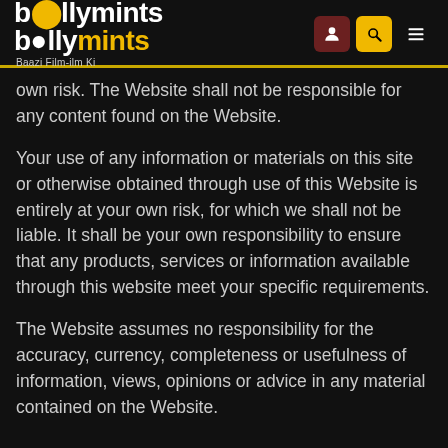bollymints — Baazi Film-ilm Ki
own risk. The Website shall not be responsible for any content found on the Website.
Your use of any information or materials on this site or otherwise obtained through use of this Website is entirely at your own risk, for which we shall not be liable. It shall be your own responsibility to ensure that any products, services or information available through this website meet your specific requirements.
The Website assumes no responsibility for the accuracy, currency, completeness or usefulness of information, views, opinions or advice in any material contained on the Website.